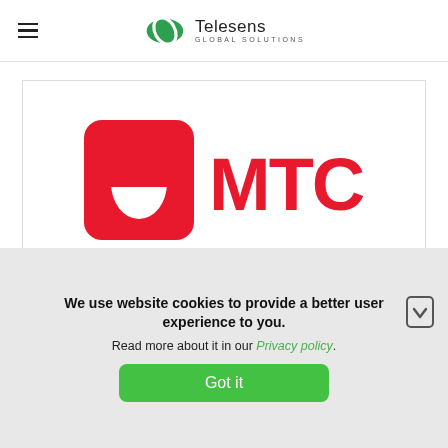Telesens Global Solutions
[Figure (logo): MTC logo — red rounded square with white egg shape and red MTC text]
[Figure (logo): Ucell logo — purple globe/swoosh mark with purple Ucell text, partially visible]
We use website cookies to provide a better user experience to you.
Read more about it in our Privacy policy.
Got it